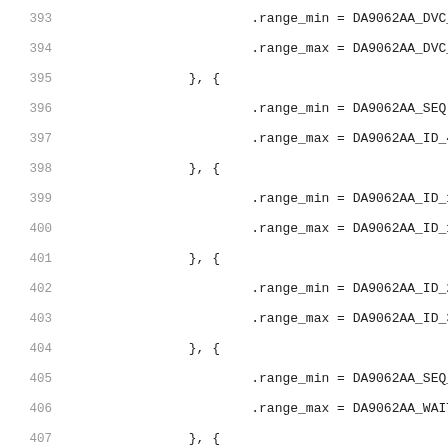393    .range_min = DA9062AA_DVC_1,
394    .range_max = DA9062AA_DVC_1,
395        }, {
396            .range_min = DA9062AA_SEQ,
397            .range_max = DA9062AA_ID_4_3,
398        }, {
399            .range_min = DA9062AA_ID_12_11,
400            .range_max = DA9062AA_ID_16_15,
401        }, {
402            .range_min = DA9062AA_ID_22_21,
403            .range_max = DA9062AA_ID_32_31,
404        }, {
405            .range_min = DA9062AA_SEQ_A,
406            .range_max = DA9062AA_WAIT,
407        }, {
408            .range_min = DA9062AA_RESET,
409            .range_max = DA9062AA_BUCK_ILIM
410        }, {
411            .range_min = DA9062AA_BUCK1_CFG
412            .range_max = DA9062AA_BUCK3_CFG
413        }, {
414            .range_min = DA9062AA_VBUCK1_A